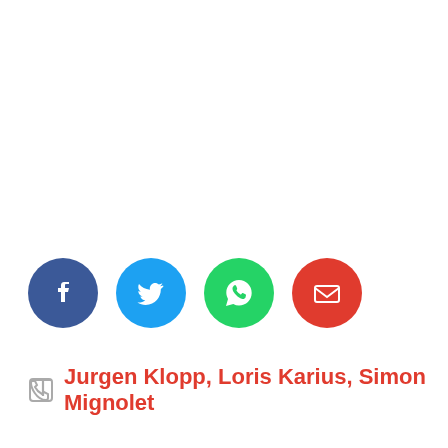[Figure (infographic): Four social sharing icon buttons: Facebook (dark blue circle), Twitter (light blue circle), WhatsApp (green circle), Email (red circle), each with white icon inside]
Jurgen Klopp, Loris Karius, Simon Mignolet